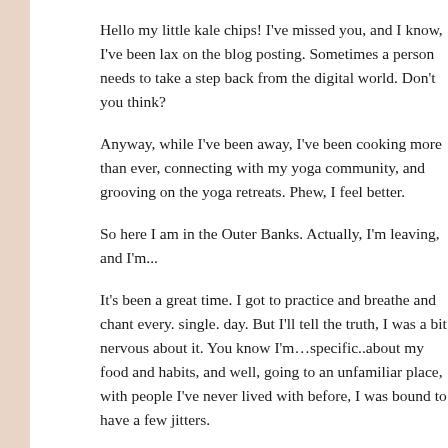Hello my little kale chips! I've missed you, and I know, I've been lax on the blog posting. Sometimes a person needs to take a step back from the digital world. Don't you think?
Anyway, while I've been away, I've been cooking more than ever, connecting with my yoga community, and grooving on the yoga retreats. Phew, I feel better.
So here I am in the Outer Banks. Actually, I'm leaving, and I'm...
It's been a great time. I got to practice and breathe and chant every. single. day. But I'll tell the truth, I was a bit nervous about it. You know I'm…specific..about my food and habits, and well, going to an unfamiliar place, with people I've never lived with before, I was bound to have a few jitters.
But here's the great thing: in a house with a kitchen, I am always in control. They had a great array of culinary tools in the kitchen here...